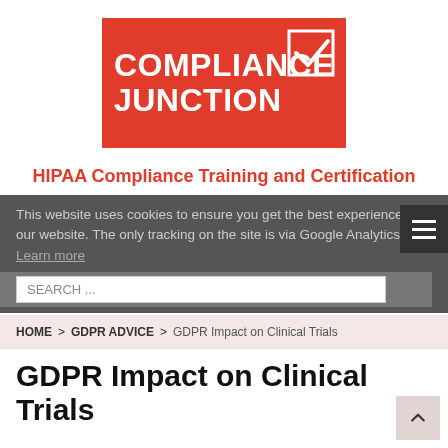[Figure (logo): Compliance Junction logo — red rectangle background with white bold text 'COMPLIANCE JUNCTION' and a checkbox icon in top right corner]
HIPAA Compliance Training and Certification
This website uses cookies to ensure you get the best experience on our website. The only tracking on the site is via Google Analytics. Learn more
SEARCH ...
HOME > GDPR ADVICE > GDPR Impact on Clinical Trials
GDPR Impact on Clinical Trials